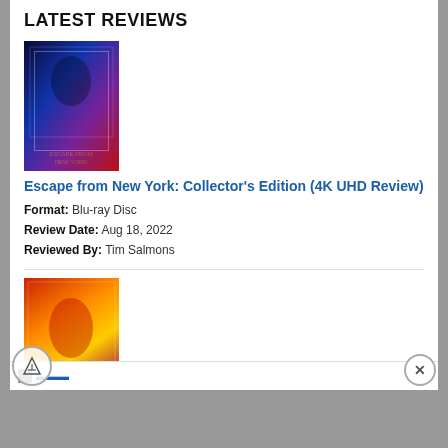LATEST REVIEWS
[Figure (photo): Escape from New York movie cover art — dark blue/purple sci-fi action artwork]
Escape from New York: Collector's Edition (4K UHD Review)
Format: Blu-ray Disc
Review Date: Aug 18, 2022
Reviewed By: Tim Salmons
[Figure (photo): Shriek of the Mutilated movie cover art — red/yellow horror artwork]
Shriek of the Mutilated (Blu-ray Review)
Format: Blu-ray Disc
Review Date: Aug 18, 2022
Reviewed By: Stephen Bjork